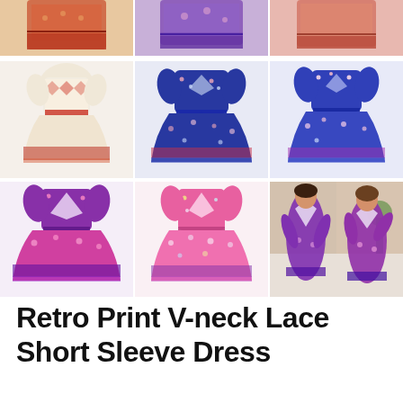[Figure (photo): Product listing page showing multiple views of a Retro Print V-neck Lace Short Sleeve Dress in various color variants including bohemian floral patterns. Top row shows partial cropped images of red/orange, purple, and pink variants. Middle row shows three full dress product shots: cream/red geometric print, navy/blue floral, and blue/purple floral. Bottom row shows three more: purple/pink V-neck, pink floral, and a lifestyle photo of two women wearing the purple variant.]
Retro Print V-neck Lace Short Sleeve Dress